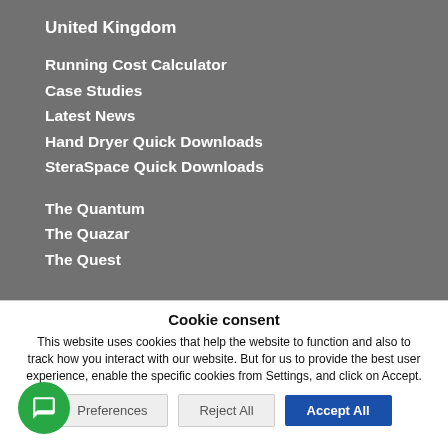United Kingdom
Running Cost Calculator
Case Studies
Latest News
Hand Dryer Quick Downloads
SteraSpace Quick Downloads
The Quantum
The Quazar
The Quest
Cookie consent
This website uses cookies that help the website to function and also to track how you interact with our website. But for us to provide the best user experience, enable the specific cookies from Settings, and click on Accept.
Preferences
Reject All
Accept All